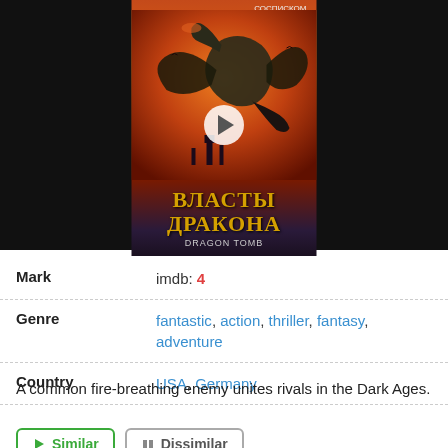[Figure (screenshot): Movie poster/video thumbnail for a Russian fantasy film 'Власты Дракона' (Dragon Power/Authority of the Dragon) showing a dragon flying against a fiery sky, with a play button overlay. Black background on sides.]
| Mark | imdb: 4 |
| Genre | fantastic, action, thriller, fantasy, adventure |
| Country | USA, Germany |
A common fire-breathing enemy unites rivals in the Dark Ages.
Similar   Dissimilar